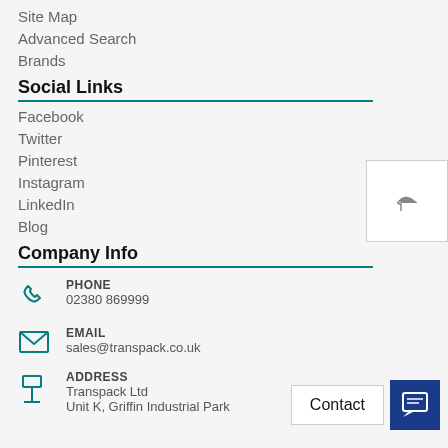Site Map
Advanced Search
Brands
Social Links
Facebook
Twitter
Pinterest
Instagram
LinkedIn
Blog
Company Info
PHONE
02380 869999
EMAIL
sales@transpack.co.uk
ADDRESS
Transpack Ltd
Unit K, Griffin Industrial Park